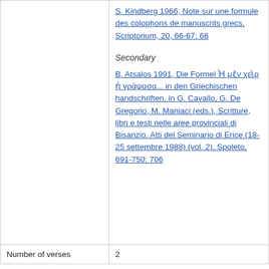|  | S. Kindberg 1966, Note sur une formule des colophons de manuscrits grecs, Scriptorium, 20, 66-67: 66

Secondary

B. Atsalos 1991, Die Formel Ἡ μὲν χεὶρ ἡ γράψασα... in den Griechischen handschriften, in G. Cavallo, G. De Gregorio, M. Maniaci (eds.), Scritture, libri e testi nelle aree provinciali di Bisanzio. Atti del Seminario di Erice (18-25 settembre 1988) (vol. 2), Spoleto, 691-750: 706 |
| Number of verses | 2 |